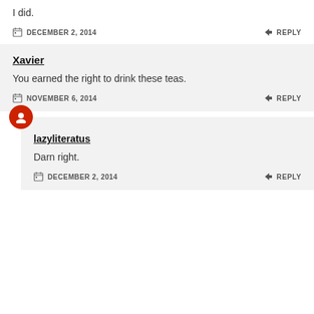I did.
DECEMBER 2, 2014   REPLY
Xavier
You earned the right to drink these teas.
NOVEMBER 6, 2014   REPLY
lazyliteratus
Darn right.
DECEMBER 2, 2014   REPLY